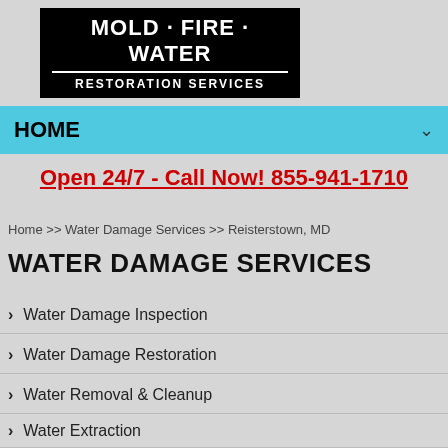[Figure (logo): Black background logo with text Mold - Fire - Water / Restoration Services in white bold uppercase letters]
HOME
Open 24/7 - Call Now! 855-941-1710
Home >> Water Damage Services >> Reisterstown, MD
WATER DAMAGE SERVICES
Water Damage Inspection
Water Damage Restoration
Water Removal & Cleanup
Water Extraction
Wall Water Damage Repair